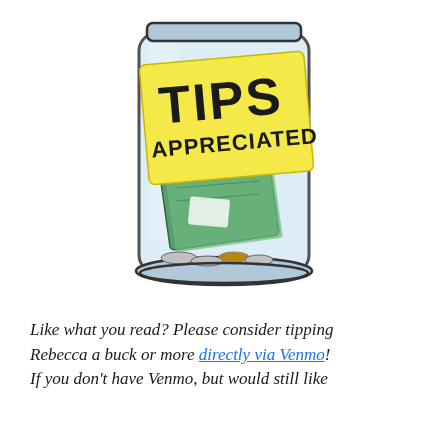[Figure (illustration): Illustration of a glass tip jar with a yellow sticky note label reading 'TIPS APPRECIATED' in bold handwritten text. The jar contains paper bills and coins.]
Like what you read? Please consider tipping Rebecca a buck or more directly via Venmo! If you don't have Venmo, but would still like